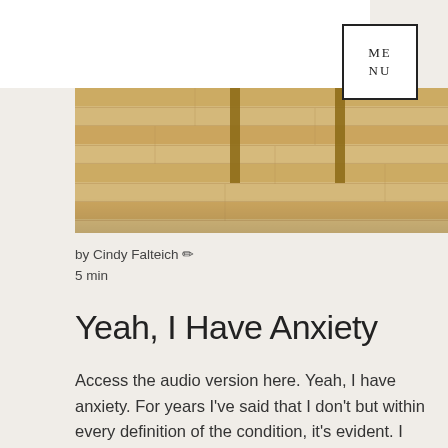ME NU
[Figure (photo): Photo of a light wood herringbone or plank floor with table legs visible, warm natural tones]
by Cindy Falteich 🖊
5 min
Yeah, I Have Anxiety
Access the audio version here. Yeah, I have anxiety. For years I've said that I don't but within every definition of the condition, it's evident. I do. Leaving the house is an undeserved chore and I'd rather starve than watch the automatic doors greet me at the grocery. The thought of abandoning the isolated